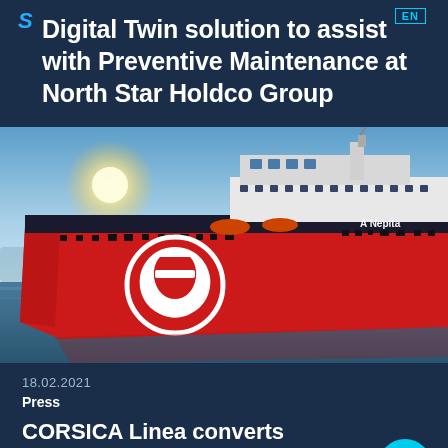SERTICA to be integrated with Digital Twin solution to assist with Preventive Maintenance at North Star Holdco Group
[Figure (photo): Red and white ferry ship named 'A Nepita' with Corsica Linea logo (white head silhouette on red hull), docked at port with blue sky and sun in background]
18.02.2021
Press
CORSICA Linea converts several systems to SERTICA to simplify and